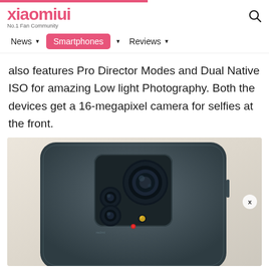xiaomiui - No.1 Fan Community
also features Pro Director Modes and Dual Native ISO for amazing Low light Photography. Both the devices get a 16-megapixel camera for selfies at the front.
[Figure (photo): Back view of a Xiaomi Redmi smartphone showing the multi-camera module with four camera lenses and a flash on a light fabric background]